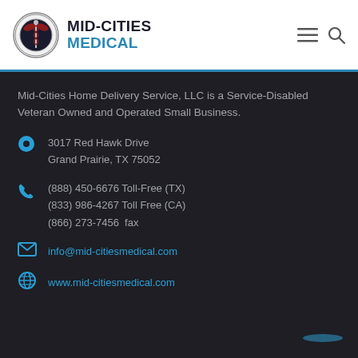[Figure (logo): Mid-Cities Medical logo with circular emblem and text 'MID-CITIES MEDICAL']
Mid-Cities Home Delivery Service, LLC is a Service-Disabled Veteran Owned and Operated Small Business.
3017 Red Hawk Drive
Grand Prairie, TX 75052
(888) 450-6676 Toll-Free (TX)
(833) 986-4267 Toll Free (CA)
(866) 273-7456  fax
info@mid-citiesmedical.com
www.mid-citiesmedical.com